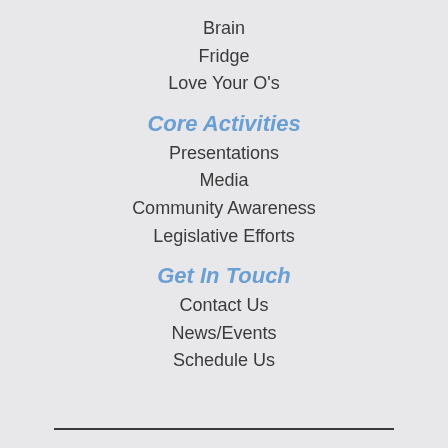Brain
Fridge
Love Your O's
Core Activities
Presentations
Media
Community Awareness
Legislative Efforts
Get In Touch
Contact Us
News/Events
Schedule Us